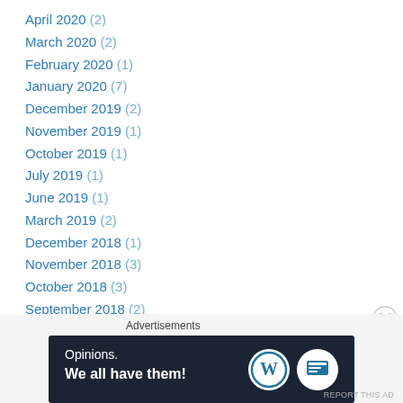April 2020 (2)
March 2020 (2)
February 2020 (1)
January 2020 (7)
December 2019 (2)
November 2019 (1)
October 2019 (1)
July 2019 (1)
June 2019 (1)
March 2019 (2)
December 2018 (1)
November 2018 (3)
October 2018 (3)
September 2018 (2)
August 2018 (1)
July 2018 (2)
Advertisements
[Figure (infographic): Advertisement banner: dark navy background with text 'Opinions. We all have them!' and WordPress + blog logos on the right]